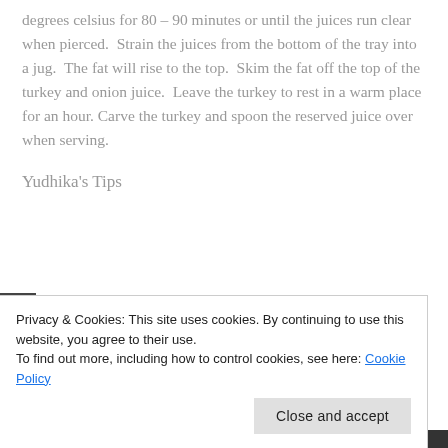degrees celsius for 80 – 90 minutes or until the juices run clear when pierced.  Strain the juices from the bottom of the tray into a jug.  The fat will rise to the top.  Skim the fat off the top of the turkey and onion juice.  Leave the turkey to rest in a warm place for an hour. Carve the turkey and spoon the reserved juice over when serving.
Yudhika's Tips
Privacy & Cookies: This site uses cookies. By continuing to use this website, you agree to their use.
To find out more, including how to control cookies, see here: Cookie Policy